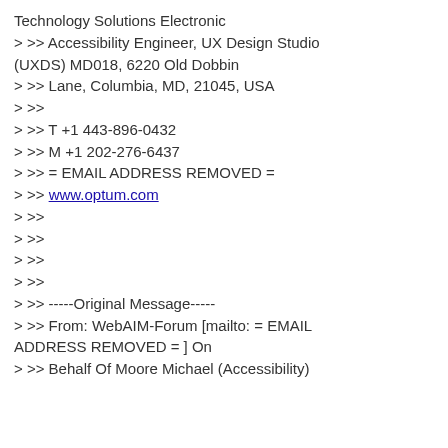Technology Solutions Electronic
> >> Accessibility Engineer, UX Design Studio (UXDS) MD018, 6220 Old Dobbin
> >> Lane, Columbia, MD, 21045, USA
> >>
> >> T +1 443-896-0432
> >> M +1 202-276-6437
> >> = EMAIL ADDRESS REMOVED =
> >> www.optum.com
> >>
> >>
> >>
> >>
> >> -----Original Message-----
> >> From: WebAIM-Forum [mailto: = EMAIL ADDRESS REMOVED = ] On
> >> Behalf Of Moore Michael (Accessibility)